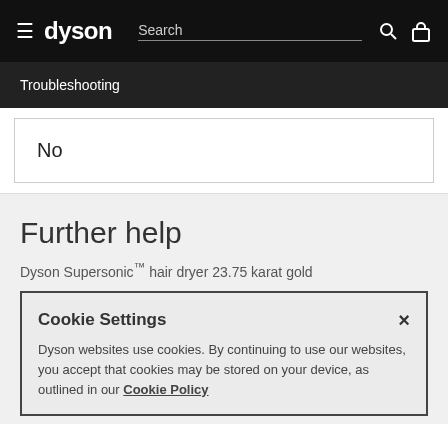dyson | Search
Troubleshooting
No
Further help
Dyson Supersonic™ hair dryer 23.75 karat gold
Cookie Settings
Dyson websites use cookies. By continuing to use our websites, you accept that cookies may be stored on your device, as outlined in our Cookie Policy